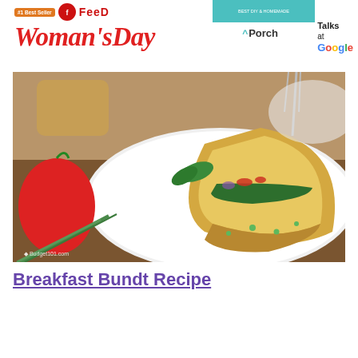[Figure (logo): Woman's Day magazine logo with #1 Best Seller badge, Feed logo circle, teal box with subtitle, Porch logo, and Talks at Google logo]
[Figure (photo): A slice of breakfast bundt cake on a white plate, showing egg filling with spinach, red peppers, and onions, garnished with green onions and basil leaves. Red pepper and green onions visible on wooden table. Budget101.com watermark.]
Breakfast Bundt Recipe